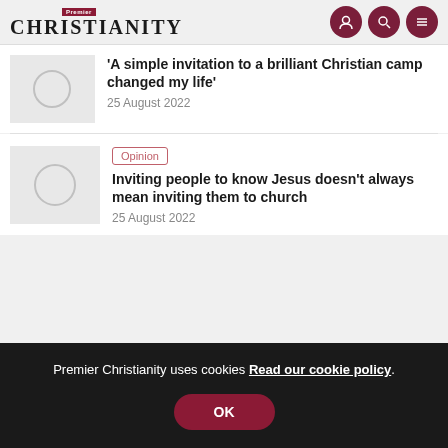Premier Christianity
'A simple invitation to a brilliant Christian camp changed my life'
25 August 2022
Opinion
Inviting people to know Jesus doesn't always mean inviting them to church
25 August 2022
Premier Christianity uses cookies Read our cookie policy. OK